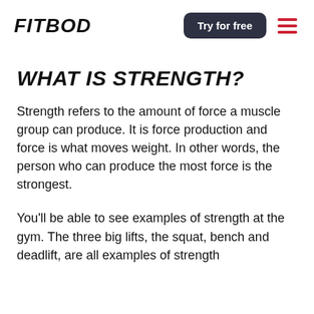FITBOD
WHAT IS STRENGTH?
Strength refers to the amount of force a muscle group can produce. It is force production and force is what moves weight. In other words, the person who can produce the most force is the strongest.
You’ll be able to see examples of strength at the gym. The three big lifts, the squat, bench and deadlift, are all examples of strength